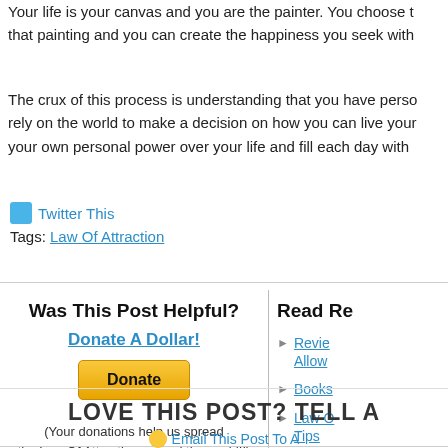Your life is your canvas and you are the painter. You choose that painting and you can create the happiness you seek with
The crux of this process is understanding that you have perso rely on the world to make a decision on how you can live your your own personal power over your life and fill each day with
Twitter This
Tags: Law Of Attraction
Was This Post Helpful?
Donate A Dollar!
Donate
(Your donations help us spread the Law Of Attraction around the world!!)
Read Re
Revie Allow
Books
Law O Tips
LOVE THIS POST? TELL A
Email This Post To A